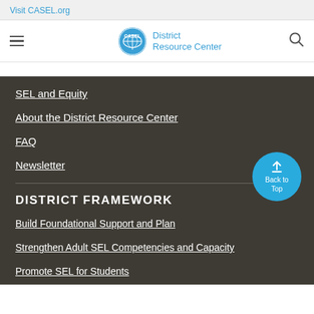Visit CASEL.org
[Figure (logo): CASEL District Resource Center logo with circular globe icon and text]
SEL and Equity
About the District Resource Center
FAQ
Newsletter
DISTRICT FRAMEWORK
Build Foundational Support and Plan
Strengthen Adult SEL Competencies and Capacity
Promote SEL for Students